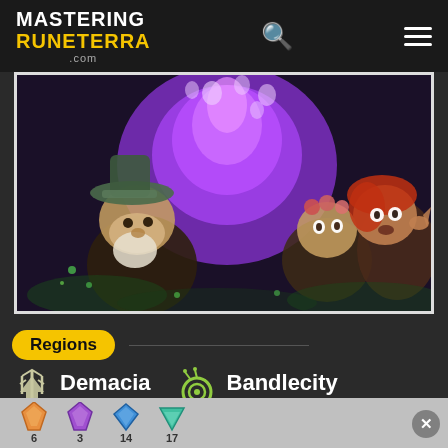MASTERING RUNETERRA .com
[Figure (screenshot): Game artwork showing fantasy characters including a gnome/dwarf with hat and a fairy/elf character, with purple magical fire/energy in the background]
Regions
Demacia 15 cards   Bandlecity 28 cards
Rarities
27 500
[Figure (infographic): Bottom bar with colored gem icons showing values: 6, 3, 14, 17]